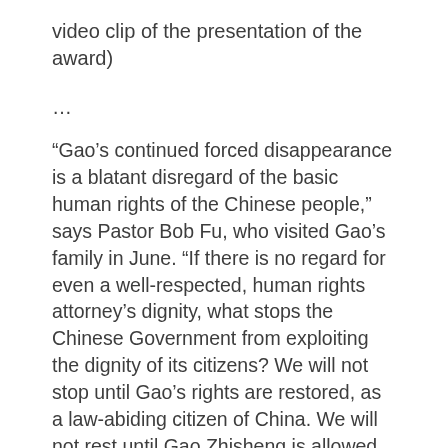video clip of the presentation of the award)
…
“Gao’s continued forced disappearance is a blatant disregard of the basic human rights of the Chinese people,” says Pastor Bob Fu, who visited Gao’s family in June. “If there is no regard for even a well-respected, human rights attorney’s dignity, what stops the Chinese Government from exploiting the dignity of its citizens? We will not stop until Gao’s rights are restored, as a law-abiding citizen of China. We will not rest until Gao Zhisheng is allowed to be reunited unconditionally with his family in the US.”